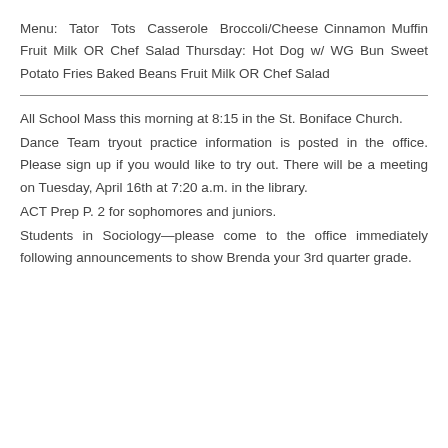Menu: Tator Tots Casserole Broccoli/Cheese Cinnamon Muffin Fruit Milk OR Chef Salad Thursday: Hot Dog w/ WG Bun Sweet Potato Fries Baked Beans Fruit Milk OR Chef Salad
All School Mass this morning at 8:15 in the St. Boniface Church. Dance Team tryout practice information is posted in the office. Please sign up if you would like to try out. There will be a meeting on Tuesday, April 16th at 7:20 a.m. in the library. ACT Prep P. 2 for sophomores and juniors. Students in Sociology—please come to the office immediately following announcements to show Brenda your 3rd quarter grade.